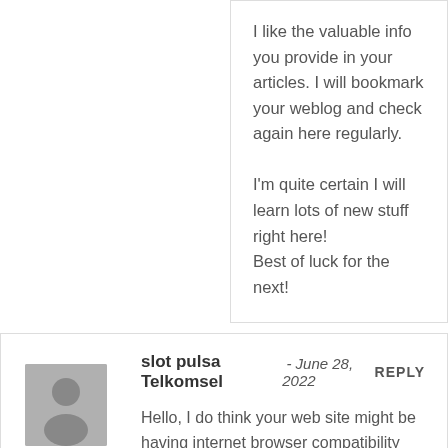I like the valuable info you provide in your articles. I will bookmark your weblog and check again here regularly.

I'm quite certain I will learn lots of new stuff right here!
Best of luck for the next!
slot pulsa Telkomsel - June 28, 2022 REPLY
Hello, I do think your web site might be having internet browser compatibility problems.
Whenever I take a look at your web site in Safari, it looks fine however, if opening in Internet